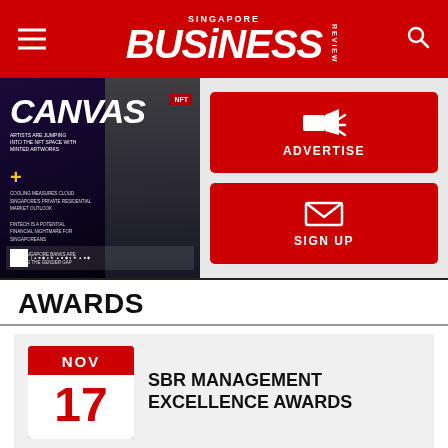Singapore Business Review
[Figure (screenshot): Singapore Business Review magazine cover showing 'Canvas' title with NFT theme and astronaut imagery]
[Figure (infographic): Red ADVERTISE button with megaphone icon]
[Figure (infographic): Red SIGN UP button with envelope icon]
AWARDS
SBR MANAGEMENT EXCELLENCE AWARDS
EVENTS